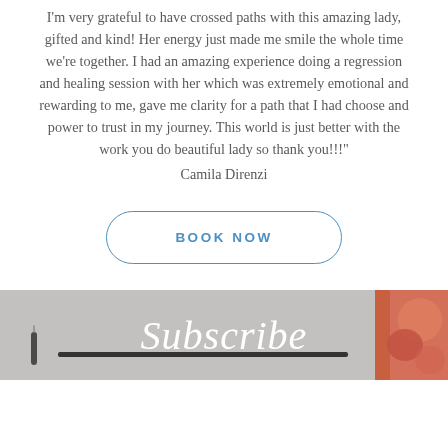I'm very grateful to have crossed paths with this amazing lady, gifted and kind! Her energy just made me smile the whole time we're together. I had an amazing experience doing a regression and healing session with her which was extremely emotional and rewarding to me, gave me clarity for a path that I had choose and power to trust in my journey. This world is just better with the work you do beautiful lady so thank you!!!"
Camila Direnzi
BOOK NOW
[Figure (photo): Bottom section with dark background/photo showing a candle, dark rod/bar decoration, and colorful patterned fabric on the right. Overlaid with decorative script text 'Subscribe'.]